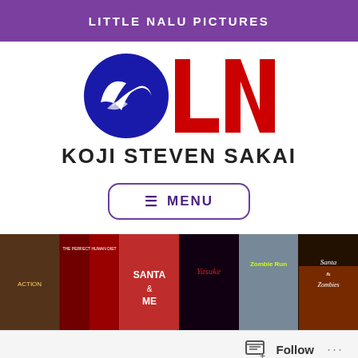LITTLE NALU PICTURES
[Figure (logo): Little Nalu Pictures logo: blue circle with wave/bird shape and red LN letters beside it, with KOJI STEVEN SAKAI text below]
≡ MENU
[Figure (photo): Strip of six movie poster thumbnails including Santa & Me, Yasuke, Zombie Run, Santa & Zombies, and two others]
Follow ...